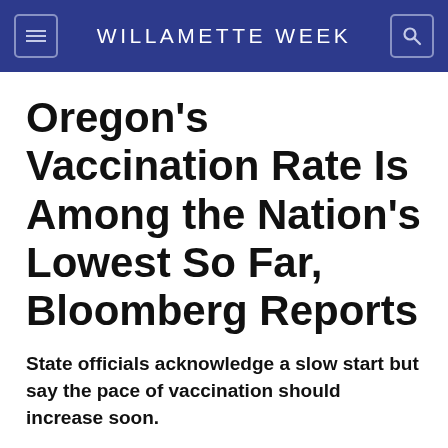WILLAMETTE WEEK
Oregon's Vaccination Rate Is Among the Nation's Lowest So Far, Bloomberg Reports
State officials acknowledge a slow start but say the pace of vaccination should increase soon.
Expand